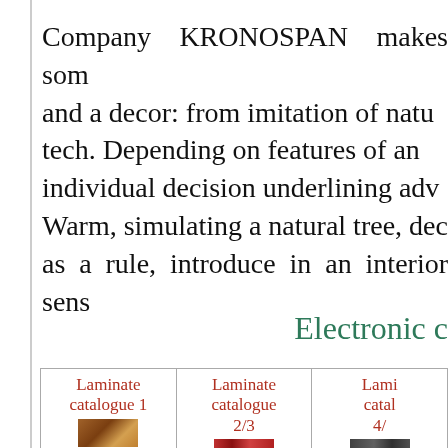Company KRONOSPAN makes som... and a decor: from imitation of natu... tech. Depending on features of an individual decision underlining adv... Warm, simulating a natural tree, dec... as a rule, introduce in an interior sens...
Electronic c...
| Laminate catalogue 1 | Laminate catalogue 2/3 | Lami... catal... 4/... |
| --- | --- | --- |